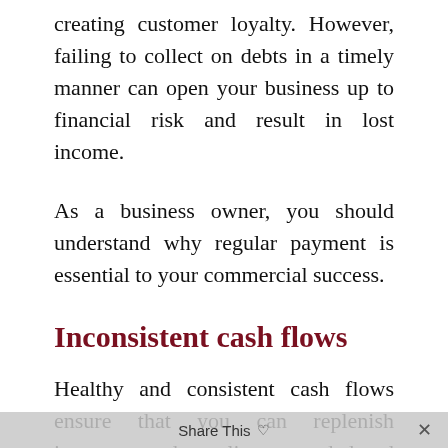creating customer loyalty. However, failing to collect on debts in a timely manner can open your business up to financial risk and result in lost income.
As a business owner, you should understand why regular payment is essential to your commercial success.
Inconsistent cash flows
Healthy and consistent cash flows ensure that you can replenish inventory and supplies as needed and pay your own creditors on time. When your accounts receivable become unmanageable, you may have trouble...
Share This